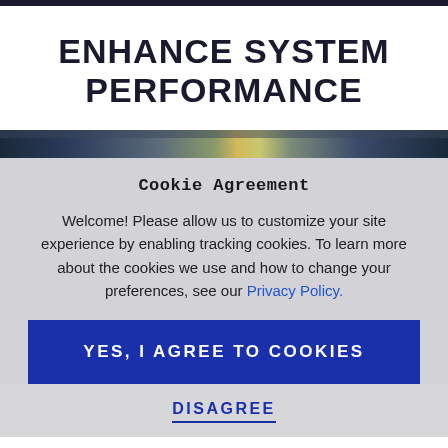ENHANCE SYSTEM PERFORMANCE
[Figure (photo): A partial photo strip showing a blurred industrial or mechanical scene with dark blue and warm tones, partially obscured by the cookie agreement modal overlay.]
Cookie Agreement
Welcome! Please allow us to customize your site experience by enabling tracking cookies. To learn more about the cookies we use and how to change your preferences, see our Privacy Policy.
YES, I AGREE TO COOKIES
DISAGREE